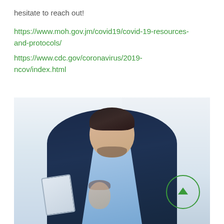hesitate to reach out!
https://www.moh.gov.jm/covid19/covid-19-resources-and-protocols/
https://www.cdc.gov/coronavirus/2019-ncov/index.html
[Figure (photo): A smiling man in a dark navy suit and light blue shirt, holding a tablet, photographed in a bright indoor setting. A woman is visible in the background.]